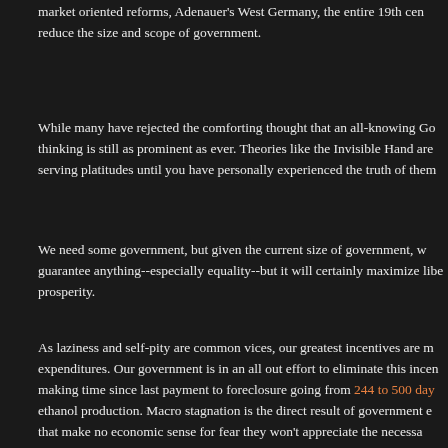market oriented reforms, Adenauer's West Germany, the entire 19th cen… reduce the size and scope of government.
While many have rejected the comforting thought that an all-knowing Go… thinking is still as prominent as ever. Theories like the Invisible Hand are… serving platitudes until you have personally experienced the truth of them…
We need some government, but given the current size of government, w… guarantee anything--especially equality--but it will certainly maximize libe… prosperity.
As laziness and self-pity are common vices, our greatest incentives are m… expenditures. Our government is in an all out effort to eliminate this incen… making time since last payment to foreclosure going from 244 to 500 day… ethanol production. Macro stagnation is the direct result of government e… that make no economic sense for fear they won't appreciate the necessa… Valdez oil spill was to steam clean the rocks to get rid of the oil, which la… forest fires in Yellowstone created a huge backlog of kindling that created… people dependent on government without any job skills; paying people to… already have cars. Complex systems are invariably made worse by outsi…
Allowing people to fail incents them to make optimal decisions, no less s… corporations are so cravenly dependent upon government for favors, but… it can apply the law and create valuable favors, a corporation is like a co… Government can't increase our aggregate income any more than it can…